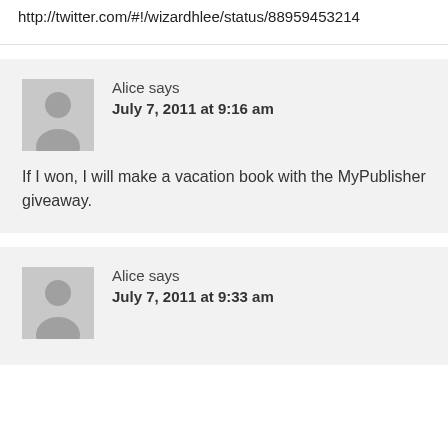http://twitter.com/#!/wizardhlee/status/88959453214...
Alice says
July 7, 2011 at 9:16 am
If I won, I will make a vacation book with the MyPublisher giveaway.
Alice says
July 7, 2011 at 9:33 am